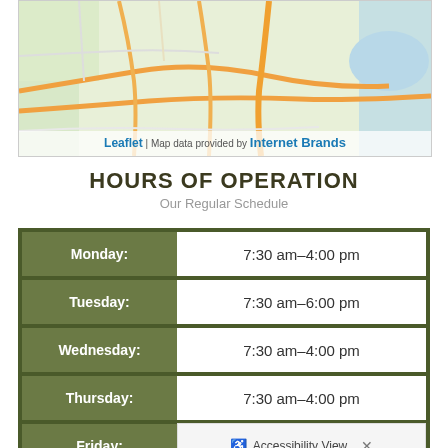[Figure (map): Street map showing road network and water features with Leaflet attribution and Internet Brands data provider]
Leaflet | Map data provided by Internet Brands
HOURS OF OPERATION
Our Regular Schedule
| Day | Hours |
| --- | --- |
| Monday: | 7:30 am–4:00 pm |
| Tuesday: | 7:30 am–6:00 pm |
| Wednesday: | 7:30 am–4:00 pm |
| Thursday: | 7:30 am–4:00 pm |
| Friday: | Accessibility View |